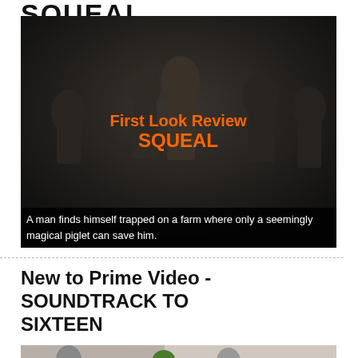SQUEAL
[Figure (photo): A dark film still showing several people in a dim farm-like setting, with orange overlay text reading 'First Look Review SQUEAL']
A man finds himself trapped on a farm where only a seemingly magical piglet can save him.
New to Prime Video - SOUNDTRACK TO SIXTEEN
[Figure (photo): A film still showing two young people indoors, with a potted plant visible between them]